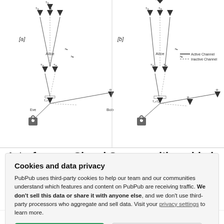[Figure (engineering-diagram): Network diagram showing MIMO system with nodes labeled Alice, Eve, Bob, with transmitter and receiver antenna symbols, active and inactive channel lines, labeled subdiagrams [a] and [b], with channel labels T1, T2, h1, h2, etc.]
Interference Signal Superposition-aided MIMO with Antenna Number Modulation and Adaptive Antenna Selection for Achieving Perfect Secrecy
Cookies and data privacy
PubPub uses third-party cookies to help our team and our communities understand which features and content on PubPub are receiving traffic. We don't sell this data or share it with anyone else, and we don't use third-party processors who aggregate and sell data. Visit your privacy settings to learn more.
presence of an eavesdropper, whose received data is mixed